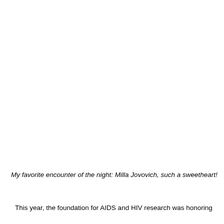My favorite encounter of the night: Milla Jovovich, such a sweetheart!
This year, the foundation for AIDS and HIV research was honoring